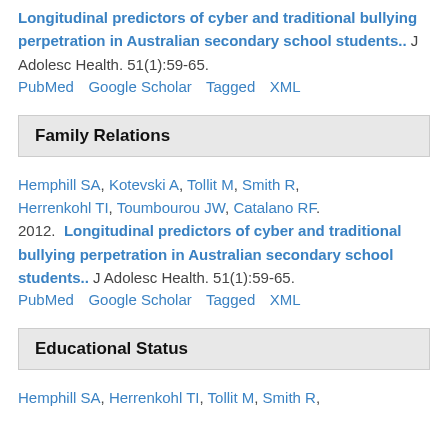Longitudinal predictors of cyber and traditional bullying perpetration in Australian secondary school students.. J Adolesc Health. 51(1):59-65. PubMed Google Scholar Tagged XML
Family Relations
Hemphill SA, Kotevski A, Tollit M, Smith R, Herrenkohl TI, Toumbourou JW, Catalano RF. 2012. Longitudinal predictors of cyber and traditional bullying perpetration in Australian secondary school students.. J Adolesc Health. 51(1):59-65. PubMed Google Scholar Tagged XML
Educational Status
Hemphill SA, Herrenkohl TI, Tollit M, Smith R,